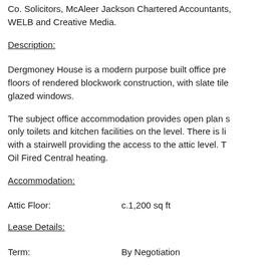Co. Solicitors, McAleer Jackson Chartered Accountants, WELB and Creative Media.
Description:
Dergmoney House is a modern purpose built office pre- floors of rendered blockwork construction, with slate tile glazed windows.
The subject office accommodation provides open plan s only toilets and kitchen facilities on the level. There is li with a stairwell providing the access to the attic level. T Oil Fired Central heating.
Accommodation:
Attic Floor:                c.1,200 sq ft
Lease Details:
Term:              By Negotiation